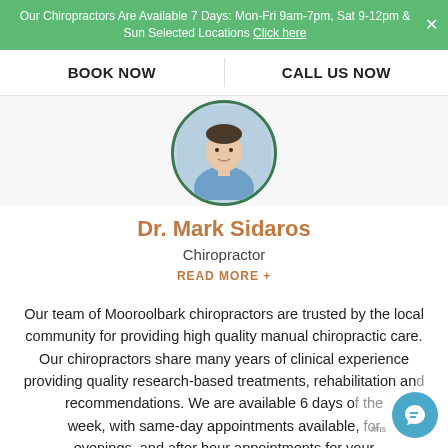Our Chiropractors Are Available 7 Days: Mon-Fri 9am-7pm, Sat 9-12pm & Sun Selected Locations Click here
BOOK NOW | CALL US NOW
[Figure (photo): Circular portrait photo of Dr. Mark Sidaros, a chiropractor wearing a blue shirt, with a green circular border]
Dr. Mark Sidaros
Chiropractor
READ MORE +
Our team of Mooroolbark chiropractors are trusted by the local community for providing high quality manual chiropractic care. Our chiropractors share many years of clinical experience providing quality research-based treatments, rehabilitation and recommendations. We are available 6 days of the week, with same-day appointments available, for evenings, and after hour appointments for your